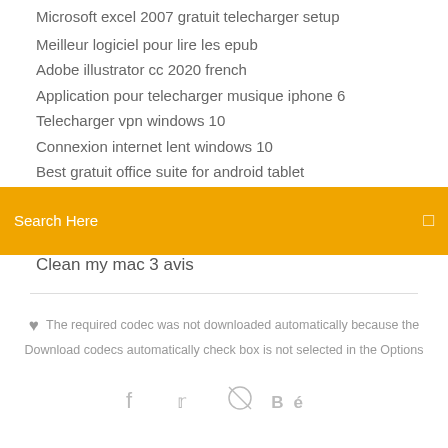Microsoft excel 2007 gratuit telecharger setup
Meilleur logiciel pour lire les epub
Adobe illustrator cc 2020 french
Application pour telecharger musique iphone 6
Telecharger vpn windows 10
Connexion internet lent windows 10
Best gratuit office suite for android tablet
[Figure (screenshot): Orange search bar with text 'Search Here' and a search icon on the right]
Clean my mac 3 avis
The required codec was not downloaded automatically because the Download codecs automatically check box is not selected in the Options
[Figure (other): Social media icons: facebook, twitter, dribbble/cancel, behance]